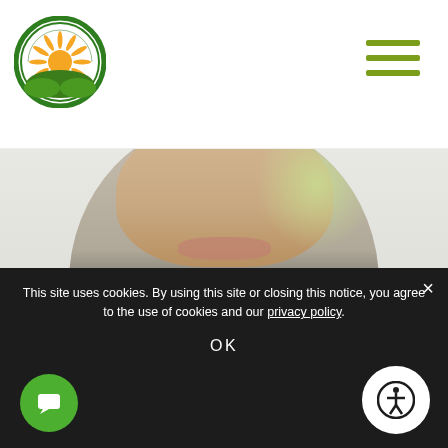[Figure (logo): National Cannabis Industry Association circular logo with green border, sun/rays, green landscape]
[Figure (photo): Partial portrait photo of a man in dark suit with white shirt and light green tie, cropped showing chin and chest in circular style]
NCIA's editorial department continues the Member Spotlight series by highlighting our Social Equity Scholarship Recipients as part of our Diversity, Equity, and Inclusion Program. Participants are
[Figure (logo): National Cannabis Industry Association Diversity Committee badge/seal — circular with orange and green colors, megaphone hand graphic, brown and gold tones]
This site uses cookies. By using this site or closing this notice, you agree to the use of cookies and our privacy policy.
OK